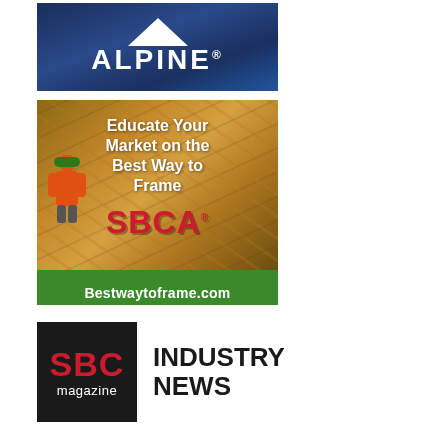[Figure (logo): Alpine logo advertisement — dark blue background with white house/triangle icon above the word ALPINE in bold white letters]
[Figure (photo): SBCA advertisement showing a construction worker in orange vest and green hard hat working on wood roof trusses. White bold text reads 'Educate Your Market on the Best Way to Frame'. Red SBCA logo. Green bottom bar with URL Bestwaytoframe.com]
[Figure (logo): SBC Magazine Industry News logo — black square badge with red bold SBC text and white 'magazine' below, followed by bold black text INDUSTRY NEWS]